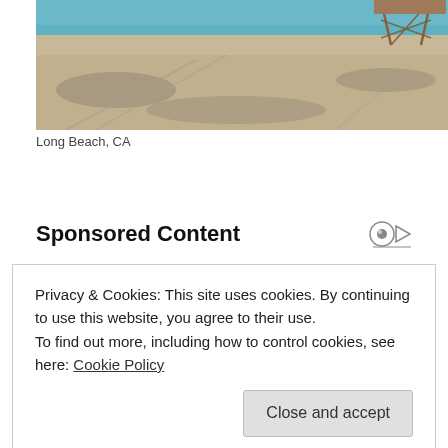[Figure (photo): Beach scene with sand, ocean water, and a lifeguard tower visible in the upper right. Tracks in the sand. Long Beach, CA.]
Long Beach, CA
Sponsored Content
[Figure (screenshot): Yellow banner with large bold dark text spelling SPIDER-MAN and colorful toy/merchandise imagery at the bottom.]
Privacy & Cookies: This site uses cookies. By continuing to use this website, you agree to their use.
To find out more, including how to control cookies, see here: Cookie Policy
Close and accept